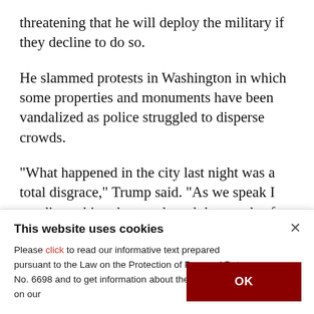threatening that he will deploy the military if they decline to do so.
He slammed protests in Washington in which some properties and monuments have been vandalized as police struggled to disperse crowds.
"What happened in the city last night was a total disgrace," Trump said. "As we speak I am dispatching thousands and thousands of heavily armed soldiers, military personnel and law
This website uses cookies
Please click to read our informative text prepared pursuant to the Law on the Protection of Personal Data No. 6698 and to get information about the cookies used on our